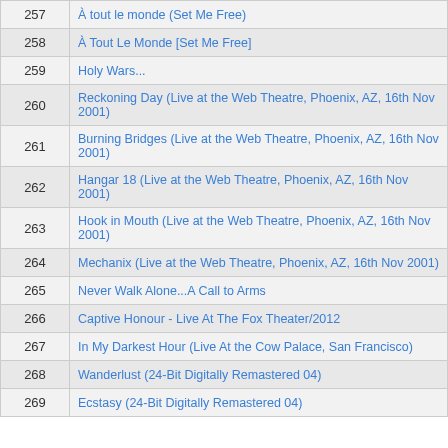| # | Title |
| --- | --- |
| 257 | À tout le monde (Set Me Free) |
| 258 | À Tout Le Monde [Set Me Free] |
| 259 | Holy Wars... |
| 260 | Reckoning Day (Live at the Web Theatre, Phoenix, AZ, 16th Nov 2001) |
| 261 | Burning Bridges (Live at the Web Theatre, Phoenix, AZ, 16th Nov 2001) |
| 262 | Hangar 18 (Live at the Web Theatre, Phoenix, AZ, 16th Nov 2001) |
| 263 | Hook in Mouth (Live at the Web Theatre, Phoenix, AZ, 16th Nov 2001) |
| 264 | Mechanix (Live at the Web Theatre, Phoenix, AZ, 16th Nov 2001) |
| 265 | Never Walk Alone...A Call to Arms |
| 266 | Captive Honour - Live At The Fox Theater/2012 |
| 267 | In My Darkest Hour (Live At the Cow Palace, San Francisco) |
| 268 | Wanderlust (24-Bit Digitally Remastered 04) |
| 269 | Ecstasy (24-Bit Digitally Remastered 04) |